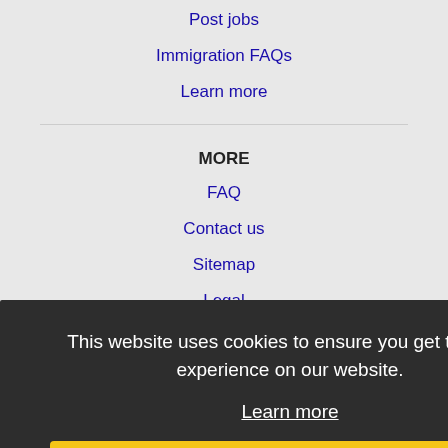Post jobs
Immigration FAQs
Learn more
MORE
FAQ
Contact us
Sitemap
Legal
Privacy
NEARBY CITIES
Bountiful, UT Jobs
Draper, UT Jobs
Lehi, UT Jobs
Logan, UT Jobs
This website uses cookies to ensure you get the best experience on our website. Learn more Got it!